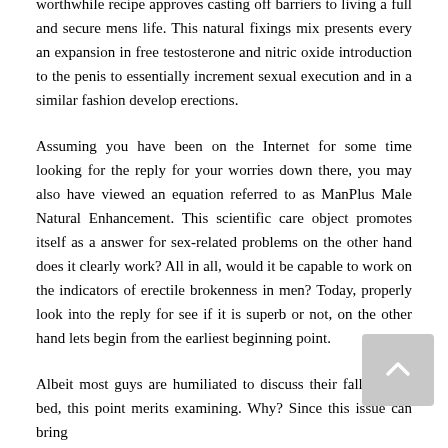worthwhile recipe approves casting off barriers to living a full and secure mens life. This natural fixings mix presents every an expansion in free testosterone and nitric oxide introduction to the penis to essentially increment sexual execution and in a similar fashion develop erections.
Assuming you have been on the Internet for some time looking for the reply for your worries down there, you may also have viewed an equation referred to as ManPlus Male Natural Enhancement. This scientific care object promotes itself as a answer for sex-related problems on the other hand does it clearly work? All in all, would it be capable to work on the indicators of erectile brokenness in men? Today, properly look into the reply for see if it is superb or not, on the other hand lets begin from the earliest beginning point.
Albeit most guys are humiliated to discuss their falls flat in bed, this point merits examining. Why? Since this issue can bring